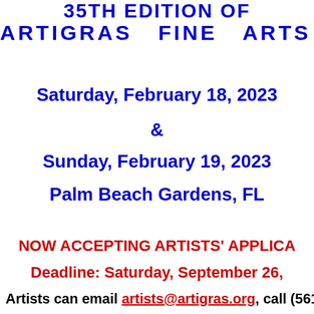35TH EDITION OF
ARTIGRAS  FINE  ARTS  FEST
Saturday, February 18, 2023
&
Sunday, February 19, 2023
Palm Beach Gardens, FL
NOW ACCEPTING ARTISTS' APPLICA
Deadline: Saturday, September 26,
Artists can email artists@artigras.org, call (561